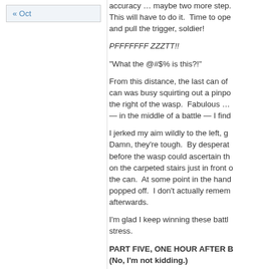« Oct
accuracy … maybe two more steps. This will have to do it. Time to open and pull the trigger, soldier!
PFFFFFFF ZZZTT!!
"What the @#$% is this?!"
From this distance, the last can of ... can was busy squirting out a pinpo... the right of the wasp. Fabulous … — in the middle of a battle — I find...
I jerked my aim wildly to the left, g... Damn, they're tough. By desperat... before the wasp could ascertain th... on the carpeted stairs just in front ... the can. At some point in the han... popped off. I don't actually remem... afterwards.
I'm glad I keep winning these battl... stress.
PART FIVE, ONE HOUR AFTER B... (No, I'm not kidding.)
This time it was a run-and-gun bat... again buzzing around the ceiling...